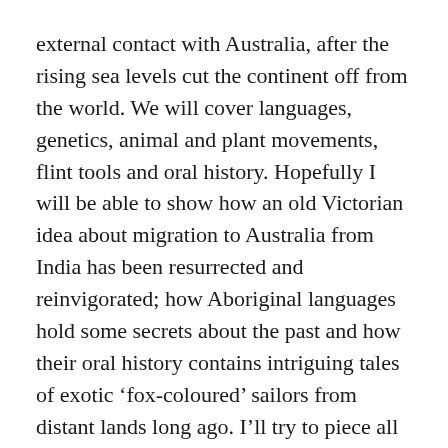external contact with Australia, after the rising sea levels cut the continent off from the world. We will cover languages, genetics, animal and plant movements, flint tools and oral history. Hopefully I will be able to show how an old Victorian idea about migration to Australia from India has been resurrected and reinvigorated; how Aboriginal languages hold some secrets about the past and how their oral history contains intriguing tales of exotic ‘fox-coloured’ sailors from distant lands long ago. I’ll try to piece all these lines of evidence together and see what picture is painted at the end.
The Dravidian Question
One of the more confusing and almost esoteric proposals of the Victorian era was the Dravidian-